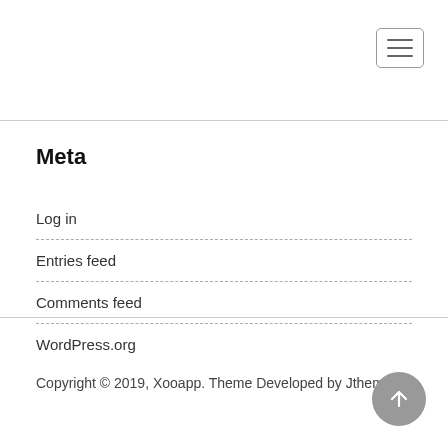Meta
Log in
Entries feed
Comments feed
WordPress.org
Copyright © 2019, Xooapp. Theme Developed by Jthemes